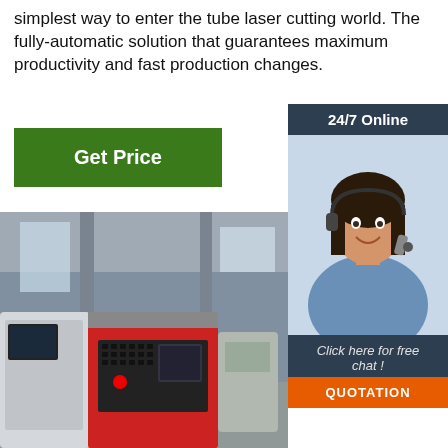simplest way to enter the tube laser cutting world. The fully-automatic solution that guarantees maximum productivity and fast production changes.
Get Price
24/7 Online
[Figure (photo): Customer service representative with headset smiling]
Click here for free chat !
QUOTATION
[Figure (photo): Tube laser cutting machine in a factory workshop, showing red CNC control panel and machine body]